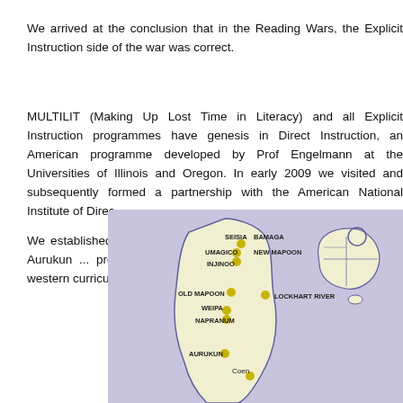We arrived at the conclusion that in the Reading Wars, the Explicit Instruction side of the war was correct.
MULTILIT (Making Up Lost Time in Literacy) and all Explicit Instruction programmes have genesis in Direct Instruction, an American programme developed by Prof Engelmann at the Universities of Illinois and Oregon. In early 2009 we visited and subsequently formed a partnership with the American National Institute of Direct...
We established this programme in two Cape York primary schools: Aurukun ... programme consists of Class and Club. Class is the western curriculum. Clu... culture.
[Figure (map): Map of Cape York Peninsula, Queensland, Australia, showing locations of communities including Seisia, Bamaga, New Mapoon, Umagico, Injinoo, Old Mapoon, Lockhart River, Weipa, Napranum, Aurukun, and Coen, marked with yellow dots. An inset shows the location of Cape York on mainland Australia.]